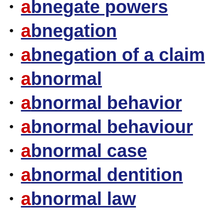abnegate powers
abnegation
abnegation of a claim
abnormal
abnormal behavior
abnormal behaviour
abnormal case
abnormal dentition
abnormal law